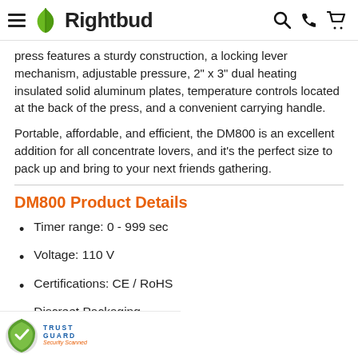Rightbud
press features a sturdy construction, a locking lever mechanism, adjustable pressure, 2" x 3" dual heating insulated solid aluminum plates, temperature controls located at the back of the press, and a convenient carrying handle.
Portable, affordable, and efficient, the DM800 is an excellent addition for all concentrate lovers, and it's the perfect size to pack up and bring to your next friends gathering.
DM800 Product Details
Timer range: 0 - 999 sec
Voltage: 110 V
Certifications: CE / RoHS
Discreet Packaging
TRUST GUARD Security Scanned